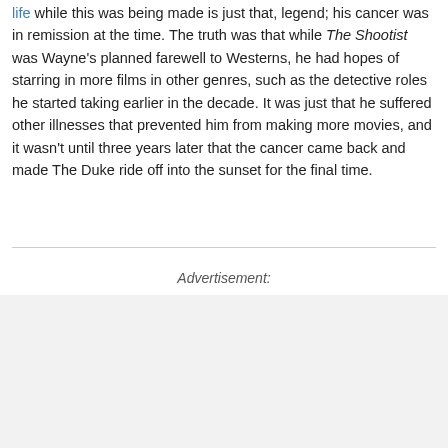life while this was being made is just that, legend; his cancer was in remission at the time. The truth was that while The Shootist was Wayne's planned farewell to Westerns, he had hopes of starring in more films in other genres, such as the detective roles he started taking earlier in the decade. It was just that he suffered other illnesses that prevented him from making more movies, and it wasn't until three years later that the cancer came back and made The Duke ride off into the sunset for the final time.
Advertisement: